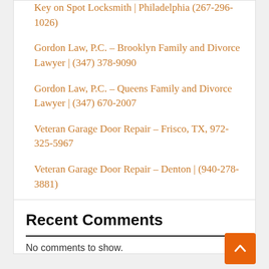Key on Spot Locksmith | Philadelphia (267-296-1026)
Gordon Law, P.C. – Brooklyn Family and Divorce Lawyer | (347) 378-9090
Gordon Law, P.C. – Queens Family and Divorce Lawyer | (347) 670-2007
Veteran Garage Door Repair – Frisco, TX, 972-325-5967
Veteran Garage Door Repair – Denton | (940-278-3881)
Recent Comments
No comments to show.